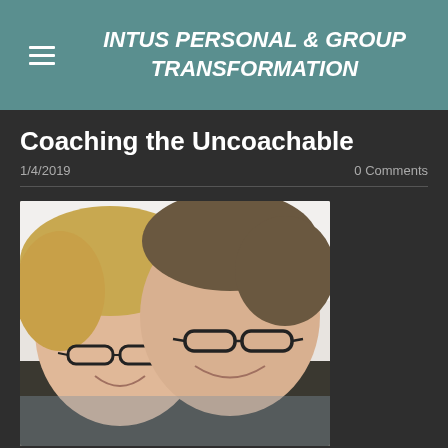INTUS PERSONAL & GROUP TRANSFORMATION
Coaching the Uncoachable
1/4/2019
0 Comments
[Figure (photo): Photo of Rebecca MacLean and Michael Kline, two people smiling in a selfie, both wearing glasses]
Rebecca MacLean and Michael Kline